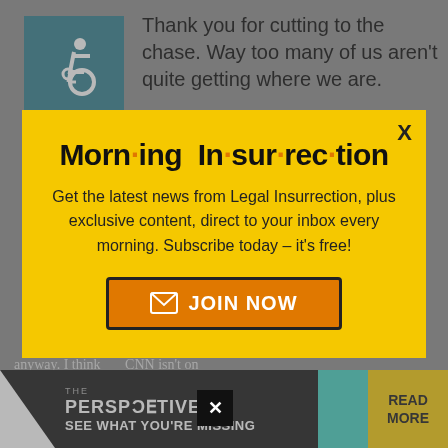Thank you for cutting to the chase. Way too many of us aren't quite getting where we are.
[Figure (illustration): Teal/blue square icon with white wheelchair accessibility symbol]
Morn·ing In·sur·rec·tion
Get the latest news from Legal Insurrection, plus exclusive content, direct to your inbox every morning. Subscribe today – it's free!
JOIN NOW
anyway. I think CNN isn't on cable package and they told me la
[Figure (advertisement): THE PERSPECTIVE - SEE WHAT YOU'RE MISSING banner ad with READ MORE button]